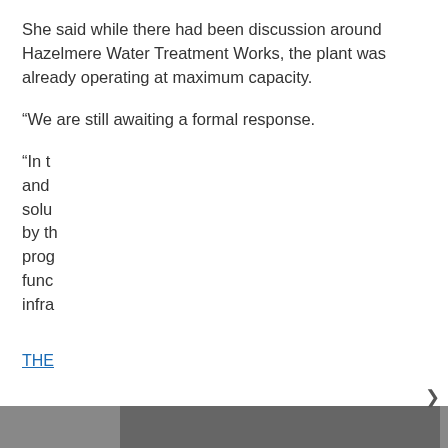She said while there had been discussion around Hazelmere Water Treatment Works, the plant was already operating at maximum capacity.
“We are still awaiting a formal response.
“In t and solu by th prog func infra
THE
[Figure (screenshot): Cookie consent modal dialog overlaying the article text. The modal contains text 'This website uses cookies to ensure you get the best experience on our website.' followed by 'LEARN MORE.' in bold, and an 'ACCEPT COOKIES' button with a light blue background. A close button (X) appears in the top right of the modal.]